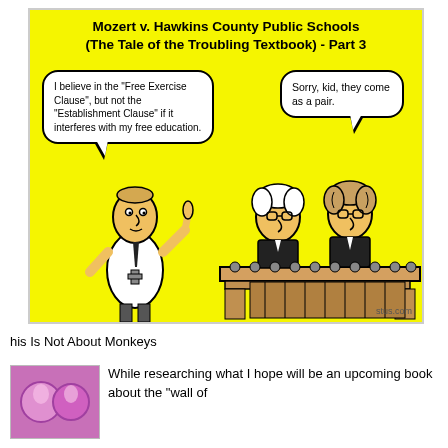[Figure (illustration): Editorial cartoon titled 'Mozert v. Hawkins County Public Schools (The Tale of the Troubling Textbook) - Part 3'. Yellow background. A person with a cross on their shirt raises a finger and says in a speech bubble: 'I believe in the "Free Exercise Clause", but not the "Establishment Clause" if it interferes with my free education.' Two judges behind a bench reply: 'Sorry, kid, they come as a pair.' Watermark: stus.com]
his Is Not About Monkeys
[Figure (photo): Thumbnail image with pink/purple background, partially visible]
While researching what I hope will be an upcoming book about the "wall of...